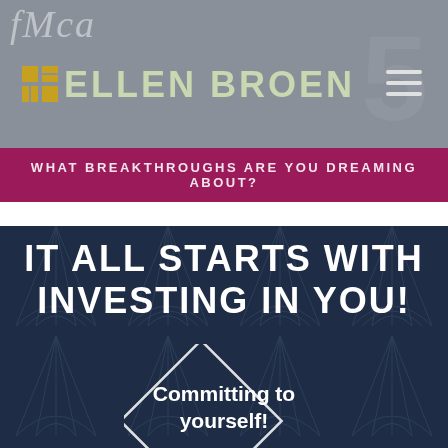[Figure (screenshot): Ellen Broen website header with logo icon, brand name in light green, hamburger menu icon, cursive script watermark, and large gray number watermark on gray background]
WHAT BREAKTHROUGHS ARE YOU DREAMING ABOUT?
IT ALL STARTS WITH INVESTING IN YOU!
[Figure (illustration): Diamond/rhombus shape outline on dark navy art deco patterned background with text 'Committing to yourself!' inside]
Committing to yourself!